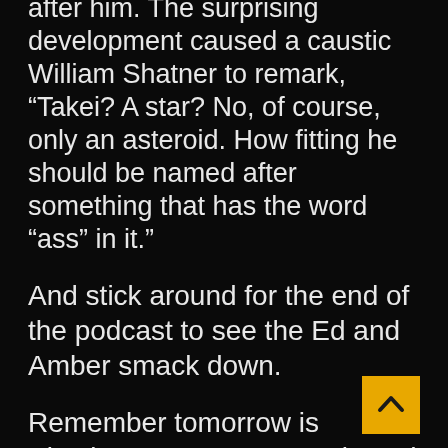after him. The surprising development caused a caustic William Shatner to remark, “Takei? A star? No, of course, only an asteroid. How fitting he should be named after something that has the word ”ass” in it.”
And stick around for the end of the podcast to see the Ed and Amber smack down.
Remember tomorrow is Election Day. So vote early and vote often.
John McCain vows to become the Ultimate Survivor. George Takei
[Figure (other): Back to top button - gold/yellow square with upward-pointing chevron arrow]